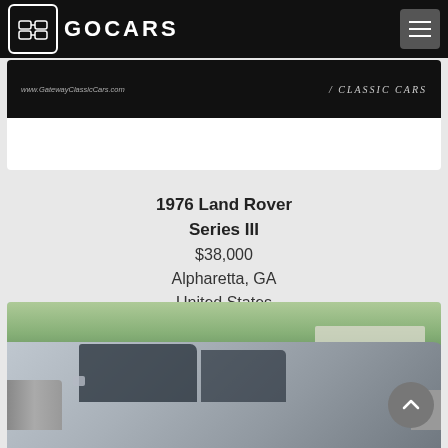GOCARS
[Figure (screenshot): Gateway Classic Cars banner strip with website URL www.GatewayClassicCars.com and CLASSIC CARS text on dark background]
1976 Land Rover Series III
$38,000
Alpharetta, GA
United States
[Figure (photo): Silver Land Rover SUV parked in front of a white wall with trees in background, INDIGO GROUP text visible on wall]